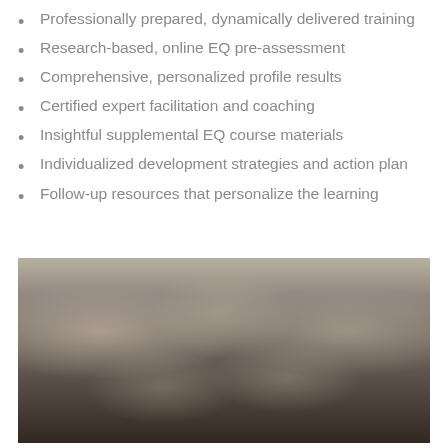Professionally prepared, dynamically delivered training
Research-based, online EQ pre-assessment
Comprehensive, personalized profile results
Certified expert facilitation and coaching
Insightful supplemental EQ course materials
Individualized development strategies and action plan
Follow-up resources that personalize the learning
[Figure (photo): A large group of people seated at tables in a conference or training room setting, engaged in group activities or discussion. Multiple tables visible with participants reviewing materials and interacting with each other.]